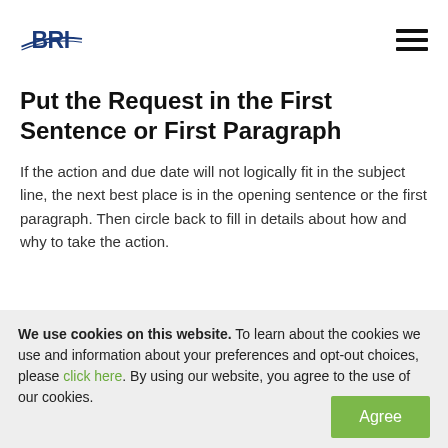BRI logo and navigation menu
Put the Request in the First Sentence or First Paragraph
If the action and due date will not logically fit in the subject line, the next best place is in the opening sentence or the first paragraph. Then circle back to fill in details about how and why to take the action.
We use cookies on this website. To learn about the cookies we use and information about your preferences and opt-out choices, please click here. By using our website, you agree to the use of our cookies.